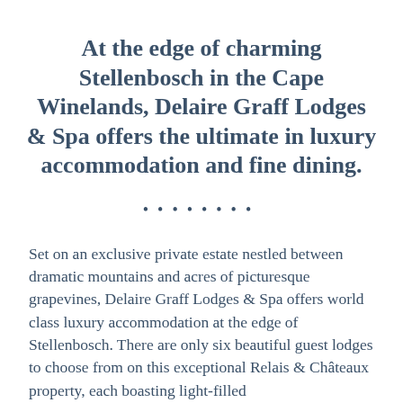At the edge of charming Stellenbosch in the Cape Winelands, Delaire Graff Lodges & Spa offers the ultimate in luxury accommodation and fine dining.
••••••••
Set on an exclusive private estate nestled between dramatic mountains and acres of picturesque grapevines, Delaire Graff Lodges & Spa offers world class luxury accommodation at the edge of Stellenbosch. There are only six beautiful guest lodges to choose from on this exceptional Relais & Châteaux property, each boasting light-filled